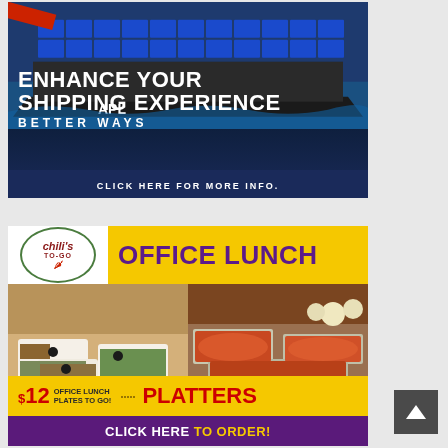[Figure (illustration): APL shipping advertisement showing a large container ship loaded with blue shipping containers. Text reads: ENHANCE YOUR SHIPPING EXPERIENCE BETTER WAYS. CLICK HERE FOR MORE INFO.]
[Figure (illustration): Chili's To-Go Office Lunch advertisement showing two photos of food platters. Text reads: OFFICE LUNCH, $12 OFFICE LUNCH PLATES TO GO!, PLATTERS, CLICK HERE TO ORDER!]